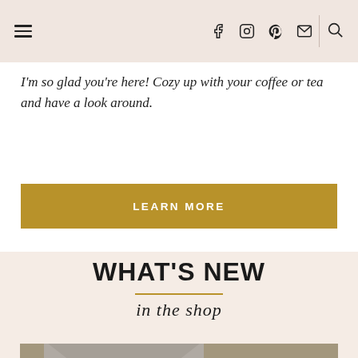Navigation header with hamburger menu, social icons (Facebook, Instagram, Pinterest, Email), and search icon
I'm so glad you're here! Cozy up with your coffee or tea and have a look around.
LEARN MORE
WHAT'S NEW in the shop
[Figure (photo): Photo of stationery/envelope with handwritten notes and botanical elements on a wooden surface]